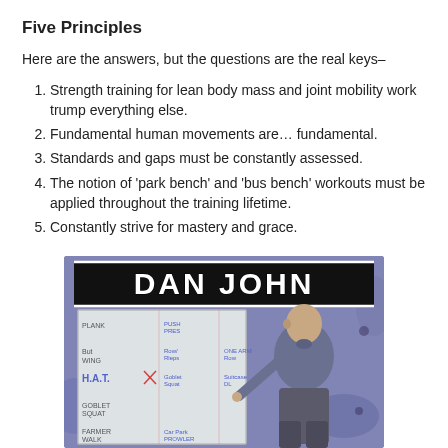Five Principles
Here are the answers, but the questions are the real keys–
Strength training for lean body mass and joint mobility work trump everything else.
Fundamental human movements are… fundamental.
Standards and gaps must be constantly assessed.
The notion of 'park bench' and 'bus bench' workouts must be applied throughout the training lifetime.
Constantly strive for mastery and grace.
[Figure (photo): Book cover or promotional image for Dan John, showing a man writing on a whiteboard with exercises listed, against a purple/blue granite background with 'DAN JOHN' text in large bold white letters.]